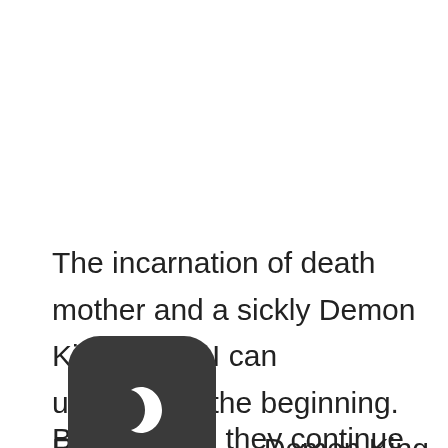The incarnation of death mother and a sickly Demon King father. I can understand the beginning. From the d[icon]Demon King to the fruits of love, th[icon]ns.
[Figure (illustration): Dark rounded square app icon with a crescent moon symbol in white, overlapping bottom-left of text block]
But, how did they continue associating?